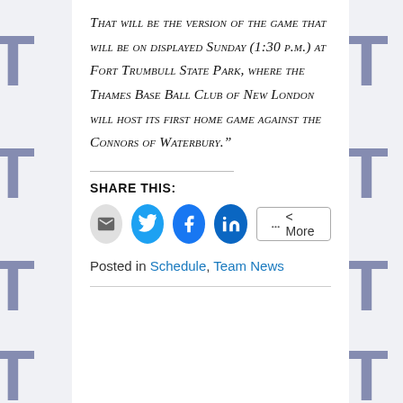That will be the version of the game that will be on displayed Sunday (1:30 p.m.) at Fort Trumbull State Park, where the Thames Base Ball Club of New London will host its first home game against the Connors of Waterbury.”
SHARE THIS:
[Figure (other): Share buttons: Email, Twitter, Facebook, LinkedIn, and More]
Posted in Schedule, Team News